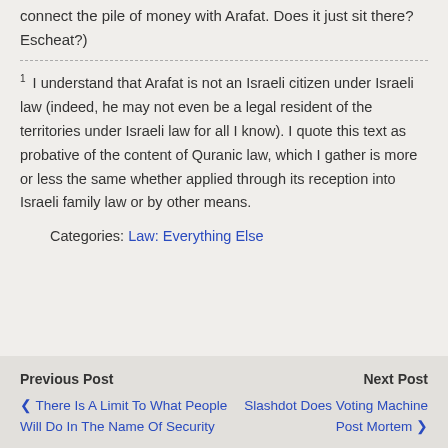connect the pile of money with Arafat. Does it just sit there? Escheat?)
1 I understand that Arafat is not an Israeli citizen under Israeli law (indeed, he may not even be a legal resident of the territories under Israeli law for all I know). I quote this text as probative of the content of Quranic law, which I gather is more or less the same whether applied through its reception into Israeli family law or by other means.
Categories: Law: Everything Else
Previous Post | There Is A Limit To What People Will Do In The Name Of Security | Next Post | Slashdot Does Voting Machine Post Mortem